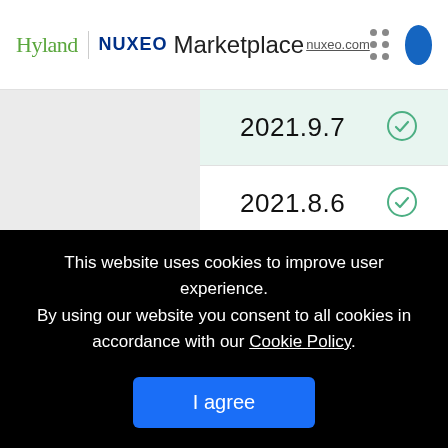Hyland | NUXEO Marketplace nuxeo.com
2021.9.7
2021.8.6
2021.7.15
This website uses cookies to improve user experience. By using our website you consent to all cookies in accordance with our Cookie Policy.
I agree